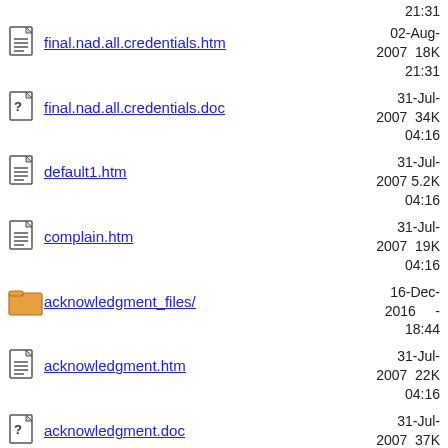final.nad.all.credentials.htm  02-Aug-2007 21:31  18K
final.nad.all.credentials.doc  31-Jul-2007 04:16  34K
default1.htm  31-Jul-2007 04:16  5.2K
complain.htm  31-Jul-2007 04:16  19K
acknowledgment_files/  16-Dec-2016 18:44  -
acknowledgment.htm  31-Jul-2007 04:16  22K
acknowledgment.doc  31-Jul-2007 04:16  37K